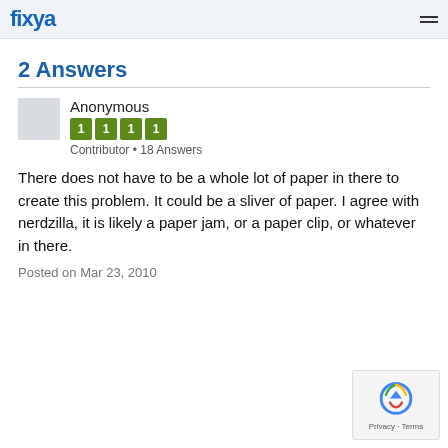fixya
2 Answers
Anonymous
1 1 1 1
Contributor • 18 Answers
There does not have to be a whole lot of paper in there to create this problem. It could be a sliver of paper. I agree with nerdzilla, it is likely a paper jam, or a paper clip, or whatever in there.
Posted on Mar 23, 2010